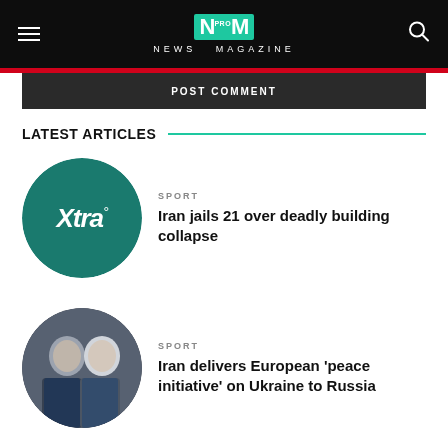NM PRO NEWS MAGAZINE
POST COMMENT
LATEST ARTICLES
SPORT
Iran jails 21 over deadly building collapse
SPORT
Iran delivers European 'peace initiative' on Ukraine to Russia